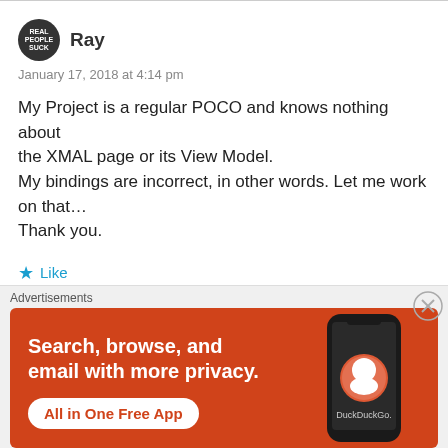Ray
January 17, 2018 at 4:14 pm
My Project is a regular POCO and knows nothing about the XMAL page or its View Model.
My bindings are incorrect, in other words. Let me work on that…
Thank you.
★ Like
[Figure (infographic): DuckDuckGo advertisement banner showing a smartphone with DuckDuckGo logo, text 'Search, browse, and email with more privacy.' and button 'All in One Free App']